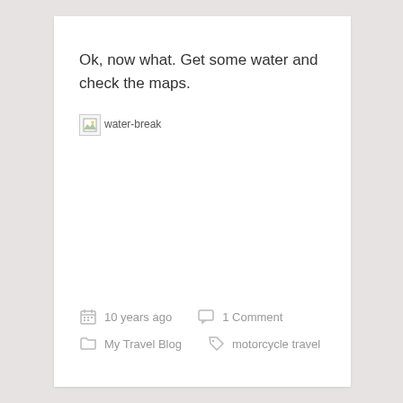Ok, now what. Get some water and check the maps.
[Figure (photo): Broken image placeholder with alt text 'water-break']
10 years ago   1 Comment   My Travel Blog   motorcycle travel